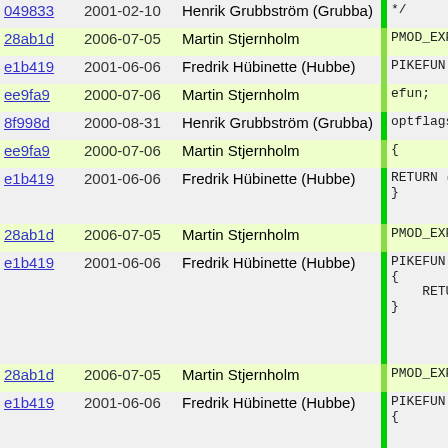| hash | date | author | bar | code |
| --- | --- | --- | --- | --- |
| 049833 | 2001-02-10 | Henrik Grubbström (Grubba) |  | */ |
| 28ab1d | 2006-07-05 | Martin Stjernholm |  | PMOD_EXPORT |
| e1b419 | 2001-06-06 | Fredrik Hübinette (Hubbe) |  | PIKEFUN int |
| ee9fa9 | 2000-07-06 | Martin Stjernholm |  | efun; |
| 8f998d | 2000-08-31 | Henrik Grubbström (Grubba) |  | optflags ( |
| ee9fa9 | 2000-07-06 | Martin Stjernholm |  | { |
| e1b419 | 2001-06-06 | Fredrik Hübinette (Hubbe) |  | RETURN (m-
} |
| 28ab1d | 2006-07-05 | Martin Stjernholm |  | PMOD_EXPORT |
| e1b419 | 2001-06-06 | Fredrik Hübinette (Hubbe) |  | PIKEFUN int
{
  RETURN ma
} |
| 28ab1d | 2006-07-05 | Martin Stjernholm |  | PMOD_EXPORT |
| e1b419 | 2001-06-06 | Fredrik Hübinette (Hubbe) |  | PIKEFUN int
{ |
| 5b15bb | 2001-12-10 | Martin Stjernholm |  | RETURN mu |
| ee9fa9 | 2000-07-06 | Martin Stjernholm |  | } |